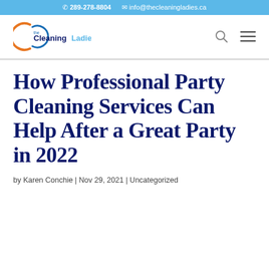289-278-8804  info@thecleaningladies.ca
[Figure (logo): The Cleaning Ladies logo — a stylized letter C with orange and blue arcs, with the text 'the CleaningLadies' in navy/cyan lettering]
How Professional Party Cleaning Services Can Help After a Great Party in 2022
by Karen Conchie | Nov 29, 2021 | Uncategorized